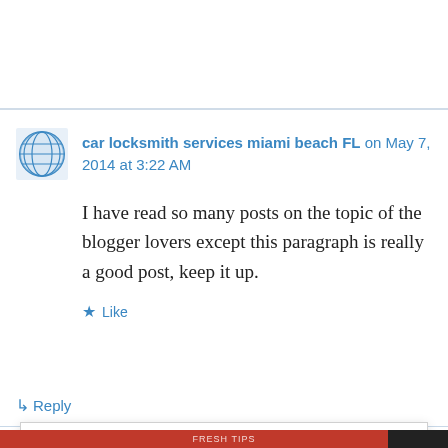car locksmith services miami beach FL on May 7, 2014 at 3:22 AM
I have read so many posts on the topic of the blogger lovers except this paragraph is really a good post, keep it up.
★ Like
↳ Reply
Privacy & Cookies: This site uses cookies. By continuing to use this website, you agree to their use.
To find out more, including how to control cookies, see here: Cookie Policy
Close and accept